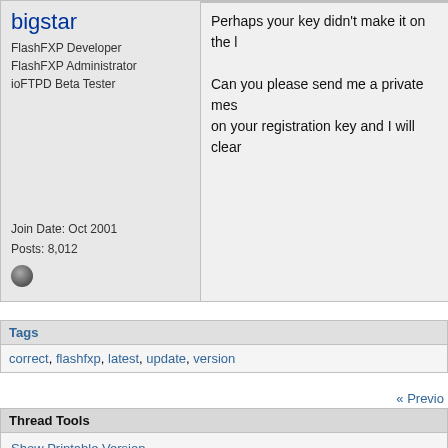bigstar
FlashFXP Developer
FlashFXP Administrator
ioFTPD Beta Tester
Join Date: Oct 2001
Posts: 8,012
Perhaps your key didn't make it on the l

Can you please send me a private mes on your registration key and I will clear
Tags
correct, flashfxp, latest, update, version
« Previo
Thread Tools
Show Printable Version
Email this Page
Display Modes